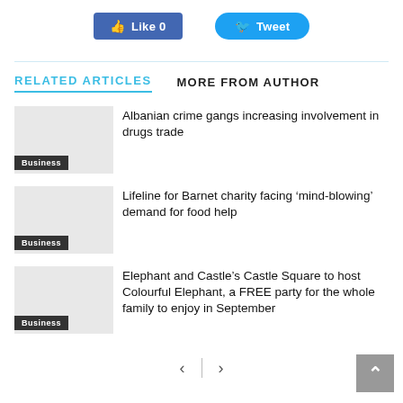[Figure (screenshot): Social sharing buttons: Facebook Like (0) and Twitter Tweet]
RELATED ARTICLES
MORE FROM AUTHOR
Albanian crime gangs increasing involvement in drugs trade
Business
Lifeline for Barnet charity facing ‘mind-blowing’ demand for food help
Business
Elephant and Castle’s Castle Square to host Colourful Elephant, a FREE party for the whole family to enjoy in September
Business